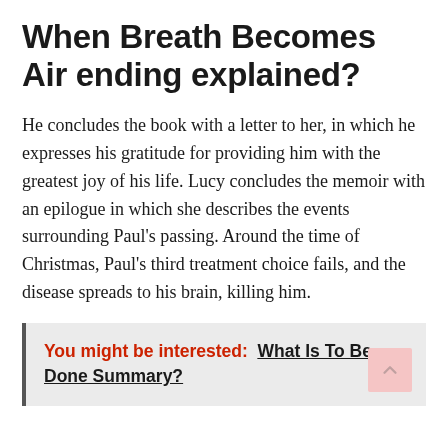When Breath Becomes Air ending explained?
He concludes the book with a letter to her, in which he expresses his gratitude for providing him with the greatest joy of his life. Lucy concludes the memoir with an epilogue in which she describes the events surrounding Paul's passing. Around the time of Christmas, Paul's third treatment choice fails, and the disease spreads to his brain, killing him.
You might be interested: What Is To Be Done Summary?